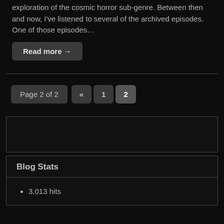exploration of the cosmic horror sub-genre. Between then and now, I've listened to several of the archived episodes. One of those episodes…
Read more →
Page 2 of 2  «  1  2
Blog Stats
3,013 hits